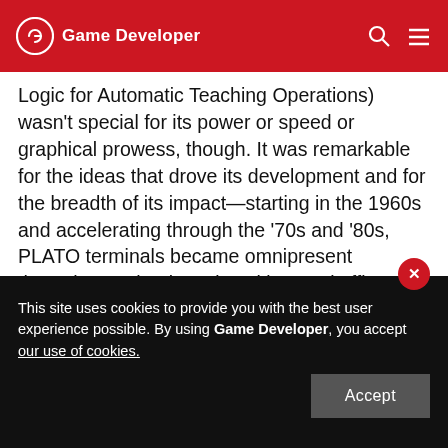Game Developer
Logic for Automatic Teaching Operations) wasn't special for its power or speed or graphical prowess, though. It was remarkable for the ideas that drove its development and for the breadth of its impact—starting in the 1960s and accelerating through the '70s and '80s, PLATO terminals became omnipresent throughout schools, universities, and offices around the world."
The Armello Postmortem: A Journey of Spirit & Peril (Trent Kusters / GDC / YouTube)
This site uses cookies to provide you with the best user experience possible. By using Game Developer, you accept our use of cookies.